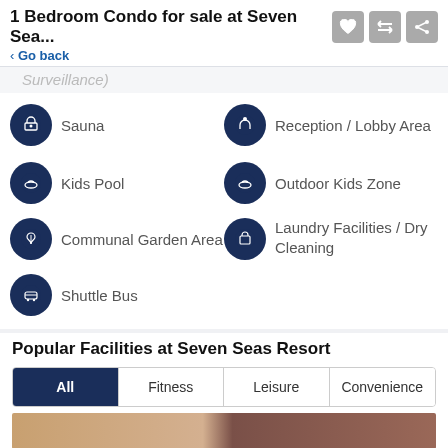1 Bedroom Condo for sale at Seven Sea...
< Go back
Surveillance)
Sauna
Reception / Lobby Area
Kids Pool
Outdoor Kids Zone
Communal Garden Area
Laundry Facilities / Dry Cleaning
Shuttle Bus
Popular Facilities at Seven Seas Resort
All | Fitness | Leisure | Convenience
Request Details | Schedule Viewing